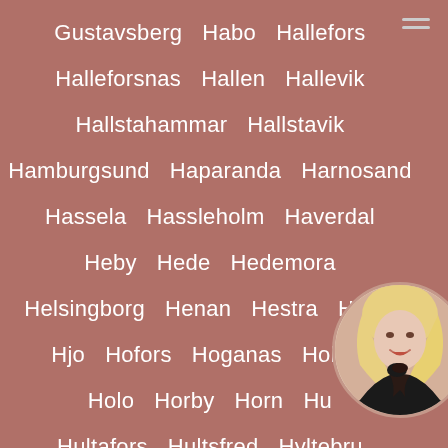Gustavsberg  Habo  Hallefors
Halleforsnas  Hallen  Hallevik
Hallstahammar  Hallstavik
Hamburgsund  Haparanda  Harnosand
Hassela  Hassleholm  Haverdal
Heby  Hede  Hedemora
Helsingborg  Henan  Hestra  Hjalm
Hjo  Hofors  Hoganas  Hollvik
Holo  Horby  Horn  Hu...
Hultafors  Hultsfred  Hyltebru...
Jarbo  Jaryso  Jokkmokk
[Figure (photo): Circular profile photo of a blonde woman in a dark outfit, posing with her hand near her neck, partial view due to page edge.]